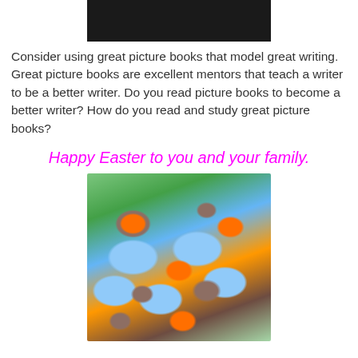[Figure (photo): Top portion of a photo showing colorful books or items on a shelf, partially cut off at the top of the page, with a dark/black bar below]
Consider using great picture books that model great writing. Great picture books are excellent mentors that teach a writer to be a better writer. Do you read picture books to become a better writer? How do you read and study great picture books?
Happy Easter to you and your family.
[Figure (photo): Easter-themed cupcakes and candy nests with colorful candy eggs (M&Ms style), made with chow mein noodles and chocolate, arranged on a plate with blue Easter eggs and green ribbon/grass decoration]